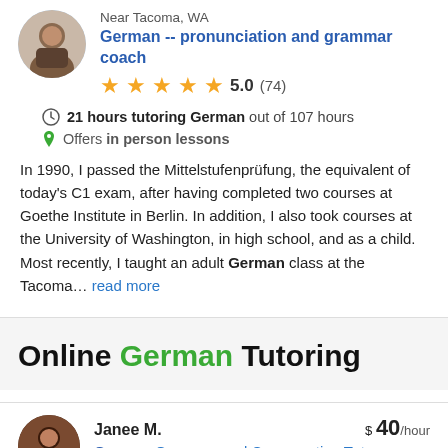Near Tacoma, WA
German -- pronunciation and grammar coach
5.0 (74)
21 hours tutoring German out of 107 hours
Offers in person lessons
In 1990, I passed the Mittelstufenprüfung, the equivalent of today's C1 exam, after having completed two courses at Goethe Institute in Berlin. In addition, I also took courses at the University of Washington, in high school, and as a child. Most recently, I taught an adult German class at the Tacoma... read more
Online German Tutoring
Janee M.
$ 40/hour
German Grammar and Conversation Tutor,